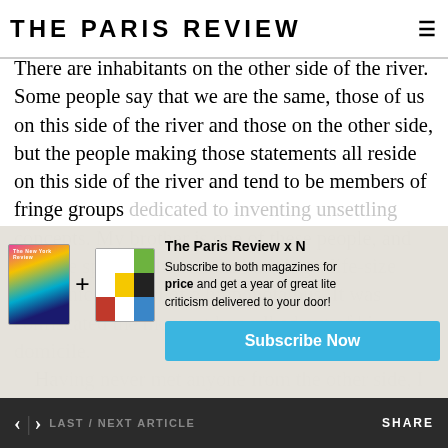THE PARIS REVIEW
There are inhabitants on the other side of the river. Some people say that we are the same, those of us on this side of the river and those on the other side, but the people making those statements all reside on this side of the river and tend to be members of fringe groups dedicated to inventing unsettling concepts. My brother is one of these people, and he once spent eight months building a life-size mechanical model of a hippopotamus. It was confiscated the moment he walked out of his domicile. Having never met anyone from the other side, I cannot say I trust any assessment that isn't backed by certain observable facts. For instance, I have observed that at night the other side of the river blazes with light, therefore I feel confident saying they have electricity. I
[Figure (infographic): Subscription offer overlay: The Paris Review x NYR. Images of two magazines with a plus sign between them. Text: Subscribe to both magazines for the price and get a year of great literature, criticism delivered to your door! Subscribe Now button.]
< > LAST / NEXT ARTICLE   SHARE